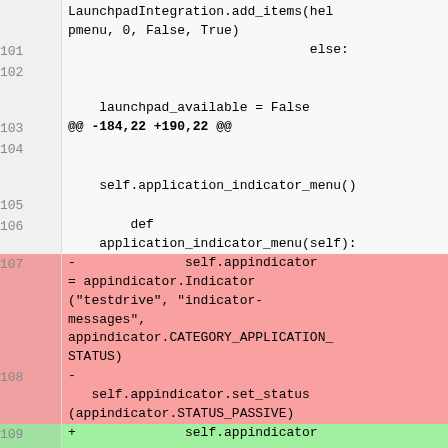LaunchpadIntegration.add_items(helpmenu, 0, False, True)
101    else:
102
launchpad_available = False
103 @@ -184,22 +190,22 @@
104
self.application_indicator_menu()
105
106        def application_indicator_menu(self):
107 -        self.appindicator = appindicator.Indicator("testdrive", "indicator-messages", appindicator.CATEGORY_APPLICATION_STATUS)
108 -    self.appindicator.set_status(appindicator.STATUS_PASSIVE)
109 +        self.appindicator = AppIndicator.Indicator.new("testdrive", "indicator-messages", AppIndicator.IndicatorCategory.APP